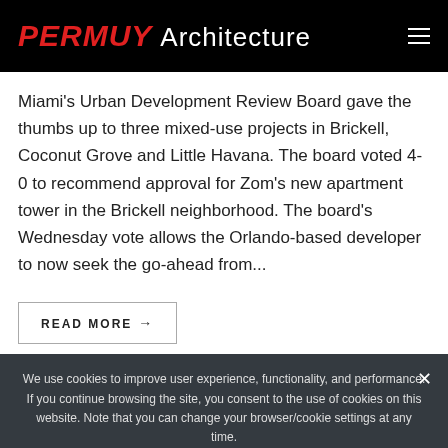PERMUY Architecture
Miami's Urban Development Review Board gave the thumbs up to three mixed-use projects in Brickell, Coconut Grove and Little Havana. The board voted 4-0 to recommend approval for Zom's new apartment tower in the Brickell neighborhood. The board's Wednesday vote allows the Orlando-based developer to now seek the go-ahead from...
READ MORE →
We use cookies to improve user experience, functionality, and performance. If you continue browsing the site, you consent to the use of cookies on this website. Note that you can change your browser/cookie settings at any time.
Ok  Privacy policy